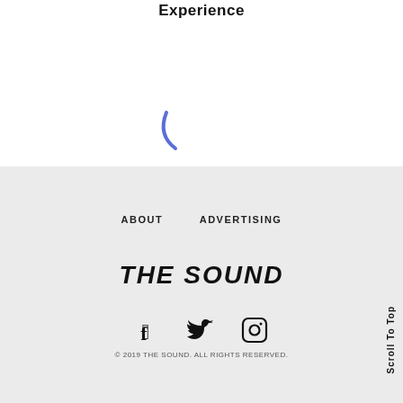Experience
[Figure (other): Blue loading spinner arc, a partial circle curve in blue]
ABOUT    ADVERTISING
THE SOUND
[Figure (other): Social media icons: Facebook, Twitter, Instagram]
© 2019 THE SOUND. ALL RIGHTS RESERVED.
Scroll To Top